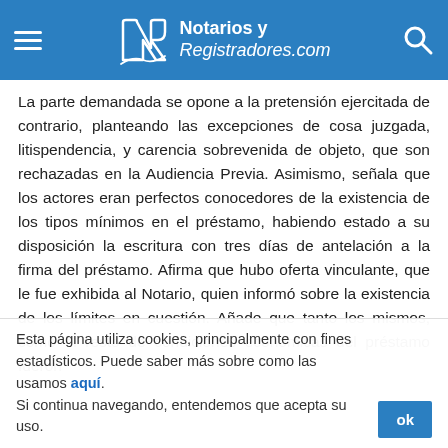Notarios y Registradores.com
La parte demandada se opone a la pretensión ejercitada de contrario, planteando las excepciones de cosa juzgada, litispendencia, y carencia sobrevenida de objeto, que son rechazadas en la Audiencia Previa. Asimismo, señala que los actores eran perfectos conocedores de la existencia de los tipos mínimos en el préstamo, habiendo estado a su disposición la escritura con tres días de antelación a la firma del préstamo. Afirma que hubo oferta vinculante, que le fue exhibida al Notario, quien informó sobre la existencia de los límites en cuestión. Añade que tanto los mismos, como el resto de condiciones económicas del préstamo fueron
Esta página utiliza cookies, principalmente con fines estadísticos. Puede saber más sobre como las usamos aquí. Si continua navegando, entendemos que acepta su uso.